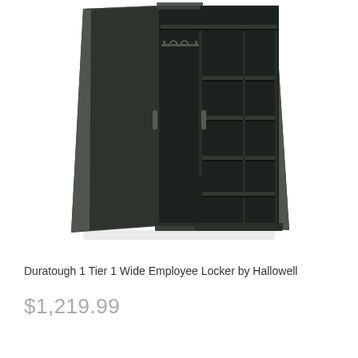[Figure (photo): A dark charcoal/black metal two-door storage cabinet (employee locker) shown open, revealing interior shelves on the right side and a hanging rod on the upper left. The cabinet has a vertical divider and multiple adjustable shelves on the right half.]
Duratough 1 Tier 1 Wide Employee Locker by Hallowell
$1,219.99